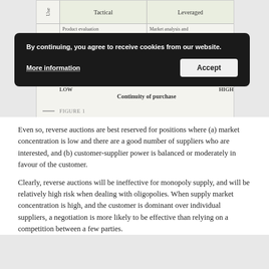[Figure (other): Partial view of a 2x2 procurement matrix figure with axes for 'Use' (vertical) and 'Continuity of purchase' (horizontal, LOW to HIGH), with cells showing Tactical and Leveraged categories and text about Product evaluation and Market analysis.]
— FIGURE 1
Even so, reverse auctions are best reserved for positions where (a) market concentration is low and there are a good number of suppliers who are interested, and (b) customer-supplier power is balanced or moderately in favour of the customer.
Clearly, reverse auctions will be ineffective for monopoly supply, and will be relatively high risk when dealing with oligopolies. When supply market concentration is high, and the customer is dominant over individual suppliers, a negotiation is more likely to be effective than relying on a competition between a few parties.